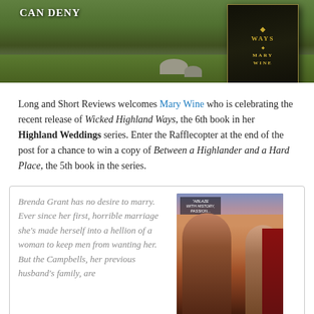[Figure (photo): Top banner image showing book covers in a grassy outdoor setting with text 'CAN DENY' on the left and a dark book cover with 'WAYS' and 'MARY WINE' on the right]
Long and Short Reviews welcomes Mary Wine who is celebrating the recent release of Wicked Highland Ways, the 6th book in her Highland Weddings series. Enter the Rafflecopter at the end of the post for a chance to win a copy of Between a Highlander and a Hard Place, the 5th book in the series.
[Figure (photo): Box with italic gray text excerpt about Brenda Grant on the left, and a romantic novel book cover image on the right showing a shirtless man and woman in an embrace against a dramatic sky background]